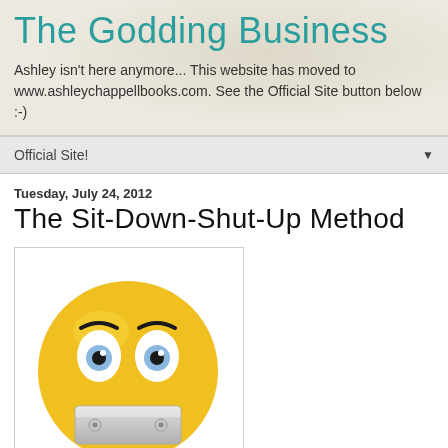The Godding Business
Ashley isn't here anymore... This website has moved to www.ashleychappellbooks.com. See the Official Site button below :-)
Official Site!
Tuesday, July 24, 2012
The Sit-Down-Shut-Up Method
[Figure (illustration): A yellow smiley face emoji with wide eyes and a metallic tape/duct tape over its mouth, with two small black curved eyebrows]
Sit down and shut up.  No, no, I didn't mean you. I meant me. This is my process, you see.